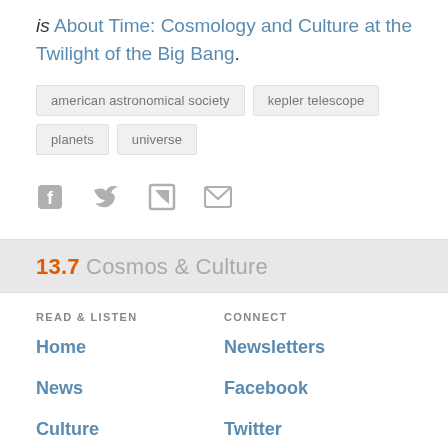is About Time: Cosmology and Culture at the Twilight of the Big Bang.
american astronomical society
kepler telescope
planets
universe
[Figure (other): Social share icons: Facebook, Twitter, Flipboard, Email]
13.7 Cosmos & Culture
READ & LISTEN
CONNECT
Home
Newsletters
News
Facebook
Culture
Twitter
Music
Instagram